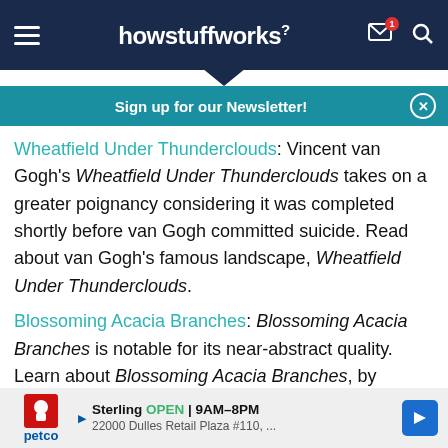howstuffworks
Sign up for our Newsletter!
Wheatfield Under Thunderclouds: Vincent van Gogh's Wheatfield Under Thunderclouds takes on a greater poignancy considering it was completed shortly before van Gogh committed suicide. Read about van Gogh's famous landscape, Wheatfield Under Thunderclouds.
Blossoming Acacia Branches: Blossoming Acacia Branches is notable for its near-abstract quality. Learn about Blossoming Acacia Branches, by
[Figure (screenshot): Petco advertisement banner showing Sterling location open 9AM-8PM at 22000 Dulles Retail Plaza #110]